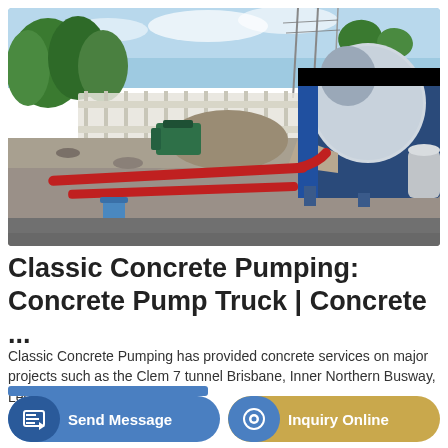[Figure (photo): Concrete pump truck with red pipes laid across a gravel construction site, trees and fence in background, outdoor daytime]
Classic Concrete Pumping: Concrete Pump Truck | Concrete ...
Classic Concrete Pumping has provided concrete services on major projects such as the Clem 7 tunnel Brisbane, Inner Northern Busway, Legacy Way, Safelink, ...